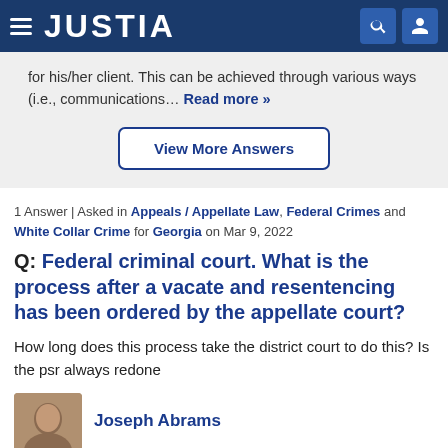JUSTIA
for his/her client. This can be achieved through various ways (i.e., communications… Read more »
View More Answers
1 Answer | Asked in Appeals / Appellate Law, Federal Crimes and White Collar Crime for Georgia on Mar 9, 2022
Q: Federal criminal court. What is the process after a vacate and resentencing has been ordered by the appellate court?
How long does this process take the district court to do this? Is the psr always redone
Joseph Abrams